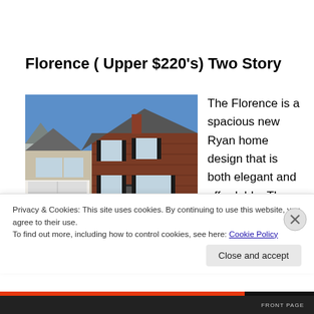Florence ( Upper $220’s) Two Story
[Figure (photo): Exterior photo of the Florence two-story home model — brick and siding facade with attached garage, two-story windows, blue sky background.]
The Florence is a spacious new Ryan home design that is both elegant and affordable. The foyer opens into
Privacy & Cookies: This site uses cookies. By continuing to use this website, you agree to their use.
To find out more, including how to control cookies, see here: Cookie Policy
FRONT PAGE